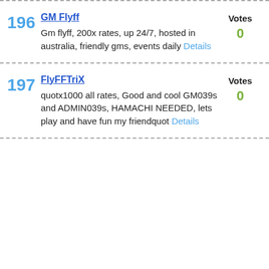196 GM Flyff — Gm flyff, 200x rates, up 24/7, hosted in australia, friendly gms, events daily Details — Votes 0
197 FlyFFTriX — quotx1000 all rates, Good and cool GM039s and ADMIN039s, HAMACHI NEEDED, lets play and have fun my friendquot Details — Votes 0